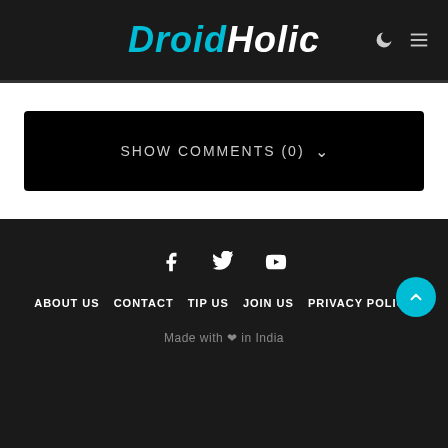DroidHolic
SHOW COMMENTS (0)
f  y  ▶  ABOUT US  CONTACT  TIP US  JOIN US  PRIVACY POLICY  Made with ♥ in India